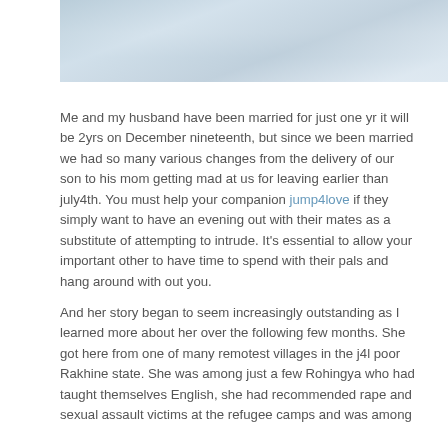[Figure (photo): Top portion of a photo showing a cloudy or misty sky scene, partially cut off]
Me and my husband have been married for just one yr it will be 2yrs on December nineteenth, but since we been married we had so many various changes from the delivery of our son to his mom getting mad at us for leaving earlier than july4th. You must help your companion jump4love if they simply want to have an evening out with their mates as a substitute of attempting to intrude. It's essential to allow your important other to have time to spend with their pals and hang around with out you.
And her story began to seem increasingly outstanding as I learned more about her over the following few months. She got here from one of many remotest villages in the j4l poor Rakhine state. She was among just a few Rohingya who had taught themselves English, she had recommended rape and sexual assault victims at the refugee camps and was among